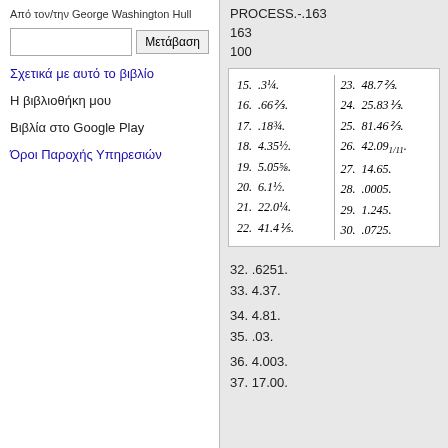Από τον/την George Washington Hull
Μετάβαση
Σχετικά με αυτό το βιβλίο
Η βιβλιοθήκη μου
Βιβλία στο Google Play
Όροι Παροχής Υπηρεσιών
PROCESS.-.163
163
100
| 15. .3¼. | 23. 48.7⅔. |
| 16. .66⅔. | 24. 25.83⅓. |
| 17. .18¾. | 25. 81.46⅔. |
| 18. 4.35½. | 26. 42.09 1/11. |
| 19. 5.05⅝. | 27. 14.65. |
| 20. 6.1½. | 28. .0005. |
| 21. 22.0¼. | 29. 1.245. |
| 22. 41.4⅕. | 30. .0725. |
32. .6251.
33. 4.37.
34. 4.81.
35. .03.
36. 4.003.
37. 17.00.